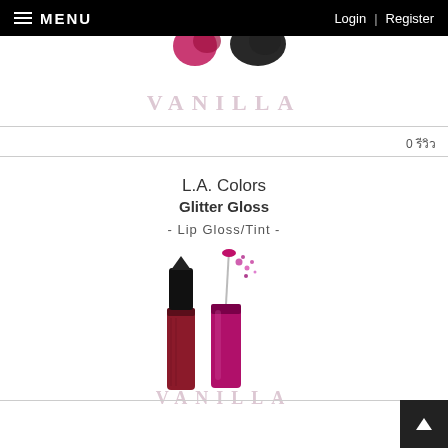MENU  Login | Register
[Figure (photo): Partial product image visible at top, with VANILLA watermark text]
0 รีวิว
L.A. Colors
Glitter Gloss
- Lip Gloss/Tint -
[Figure (photo): L.A. Colors Glitter Gloss product photo showing two lip gloss tubes — one dark/red and one magenta/pink — with wand applicator visible, on white background with VANILLA watermark]